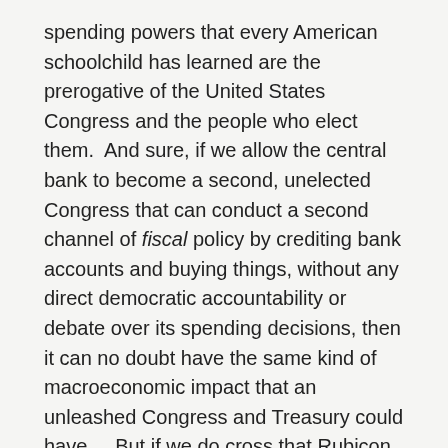spending powers that every American schoolchild has learned are the prerogative of the United States Congress and the people who elect them.  And sure, if we allow the central bank to become a second, unelected Congress that can conduct a second channel of fiscal policy by crediting bank accounts and buying things, without any direct democratic accountability or debate over its spending decisions, then it can no doubt have the same kind of macroeconomic impact that an unleashed Congress and Treasury could have.   But if we do cross that Rubicon and go down that authoritarian road, turning the Fed into some kind of neo-Soviet Stroibank empowered to spend and command real national resources outside the normal democratic process at the behest of a technocratic elite, we will probably never get our democracy back.
But before we railraise it that road, I beg you to consider